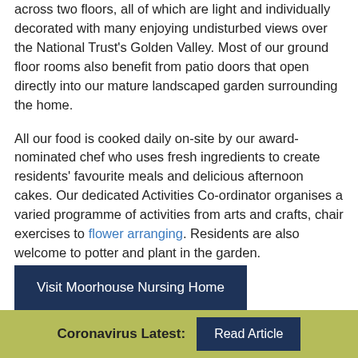across two floors, all of which are light and individually decorated with many enjoying undisturbed views over the National Trust's Golden Valley. Most of our ground floor rooms also benefit from patio doors that open directly into our mature landscaped garden surrounding the home.
All our food is cooked daily on-site by our award-nominated chef who uses fresh ingredients to create residents' favourite meals and delicious afternoon cakes. Our dedicated Activities Co-ordinator organises a varied programme of activities from arts and crafts, chair exercises to flower arranging. Residents are also welcome to potter and plant in the garden.
Visit Moorhouse Nursing Home
Coronavirus Latest: Read Article